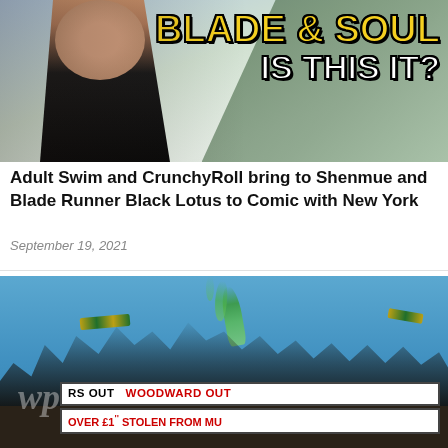[Figure (photo): Screenshot from Blade & Soul video game showing an anime-style female character in combat outfit with text overlay reading 'BLADE & SOUL IS THIS IT?' in yellow and white bold font]
Adult Swim and CrunchyRoll bring to Shenmue and Blade Runner Black Lotus to Comic with New York
September 19, 2021
[Figure (photo): Photo of protesters standing on a structure holding banners reading 'WOODWARD OUT', 'OVER £1' STOLEN FROM MU', with someone holding green smoke flare. Washington Post watermark visible.]